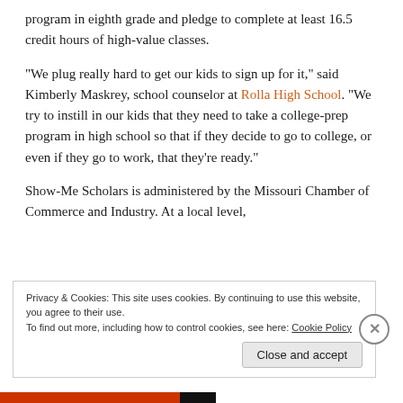program in eighth grade and pledge to complete at least 16.5 credit hours of high-value classes.
“We plug really hard to get our kids to sign up for it,” said Kimberly Maskrey, school counselor at Rolla High School. “We try to instill in our kids that they need to take a college-prep program in high school so that if they decide to go to college, or even if they go to work, that they’re ready.”
Show-Me Scholars is administered by the Missouri Chamber of Commerce and Industry. At a local level,
Privacy & Cookies: This site uses cookies. By continuing to use this website, you agree to their use.
To find out more, including how to control cookies, see here: Cookie Policy
Close and accept